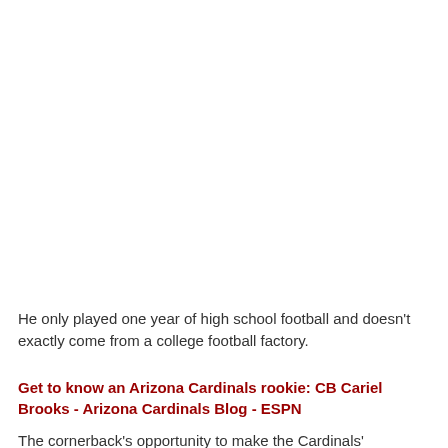He only played one year of high school football and doesn't exactly come from a college football factory.
Get to know an Arizona Cardinals rookie: CB Cariel Brooks - Arizona Cardinals Blog - ESPN
The cornerback's opportunity to make the Cardinals'